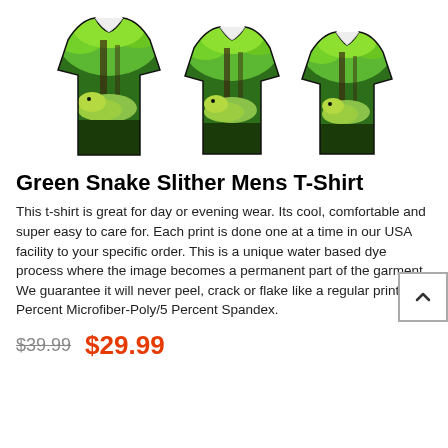[Figure (photo): Three views of a men's t-shirt printed with a green snake and forest image — front left, front center, and front right views.]
Green Snake Slither Mens T-Shirt
This t-shirt is great for day or evening wear. Its cool, comfortable and super easy to care for. Each print is done one at a time in our USA facility to your specific order. This is a unique water based dye process where the image becomes a permanent part of the garment. We guarantee it will never peel, crack or flake like a regular print. 95 Percent Microfiber-Poly/5 Percent Spandex.
$39.99  $29.99